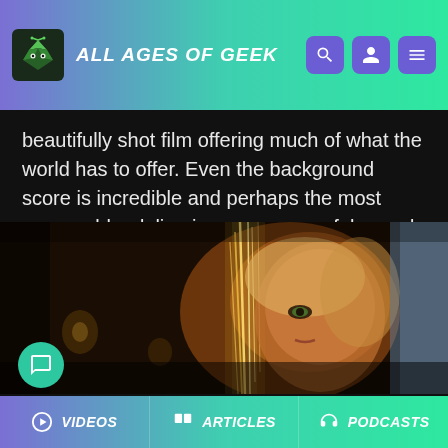ALL AGES OF GEEK
beautifully shot film offering much of what the world has to offer. Even the background score is incredible and perhaps the most memorable, delivering some powerful sounds that don't make this a typical superhero film.
[Figure (photo): A blonde woman with glowing light strands around her face, looking intensely at the camera in a dark, cinematic scene.]
VIDEOS   ARTICLES   PODCASTS